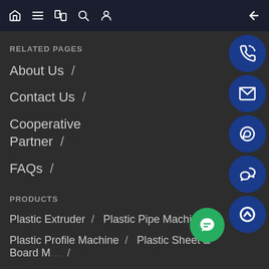Navigation bar with home, menu, translate, search, profile, back icons
RELATED PAGES
About Us /
Contact Us /
Cooperative Partner /
FAQs /
PRODUCTS
Plastic Extruder / Plastic Pipe Machine /
Plastic Profile Machine / Plastic Sheet & Board Machine /
PP/PET Strap Machine / Corrugated Sheet Machine /
[Figure (screenshot): Right sidebar with phone, email, WhatsApp, WeChat, and scroll-to-top circular blue icon buttons, plus a green chat bubble button]